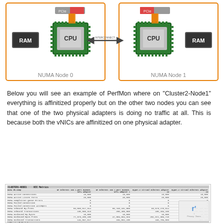[Figure (engineering-diagram): NUMA topology diagram showing two nodes: NUMA Node 0 (left) with RAM, CPU, and a PCIe slot connected via orange PCIe trace, and NUMA Node 1 (right) with a PCIe slot, CPU, and RAM. The two CPUs are connected via a bidirectional 'INTERCONNECT' arrow in the middle. Both nodes are outlined in orange rectangles.]
Below you will see an example of PerfMon where on "Cluster2-Node1" everything is affinitized properly but on the other two nodes you can see that one of the two physical adapters is doing no traffic at all. This is because both the vNICs are affinitized on one physical adapter.
[Figure (screenshot): A Performance Monitor (PerfMon) screenshot showing RDMA statistics for multiple cluster nodes (Cluster1-Node1, Cluster2-Node1, Cluster3-Node1) across multiple columns representing different physical and virtual Ethernet adapters. Some values for Cluster2-Node1 show zeros circled in orange indicating one adapter is doing no traffic.]